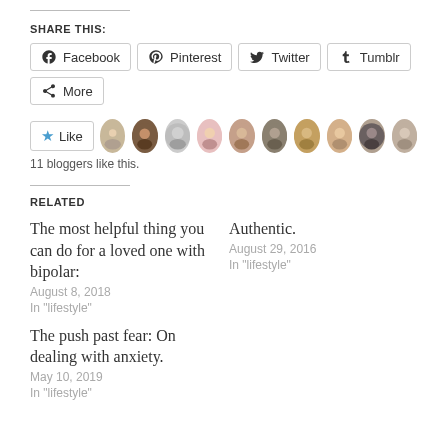SHARE THIS:
[Figure (screenshot): Social sharing buttons: Facebook, Pinterest, Twitter, Tumblr, More]
[Figure (screenshot): Like button with star icon and 10 blogger avatar thumbnails. 11 bloggers like this.]
11 bloggers like this.
RELATED
The most helpful thing you can do for a loved one with bipolar:
August 8, 2018
In "lifestyle"
Authentic.
August 29, 2016
In "lifestyle"
The push past fear: On dealing with anxiety.
May 10, 2019
In "lifestyle"